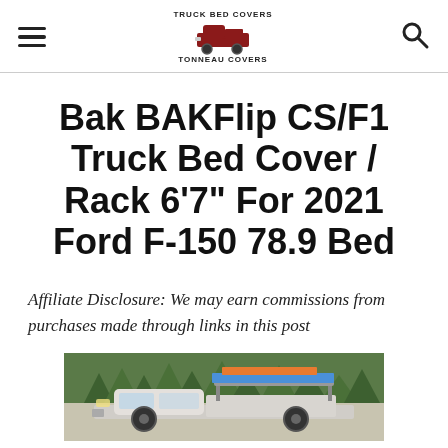Truck Bed Covers Tonneau Covers [logo with hamburger menu and search icon]
Bak BAKFlip CS/F1 Truck Bed Cover / Rack 6'7" For 2021 Ford F-150 78.9 Bed
Affiliate Disclosure: We may earn commissions from purchases made through links in this post
[Figure (photo): Photo of a white pickup truck with a rack system loaded with cargo (blue and orange materials) in the truck bed, parked outdoors with trees in the background.]